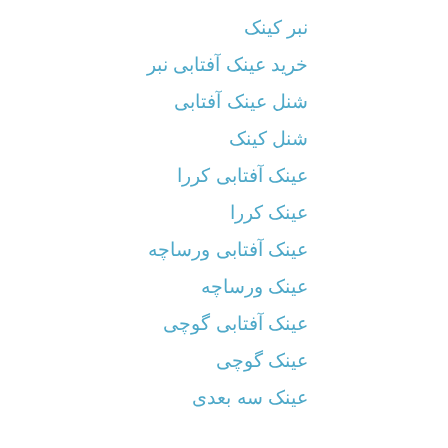نبر کینک
خرید عینک آفتابی نبر
شنل عینک آفتابی
شنل کینک
عینک آفتابی کررا
عینک کررا
عینک آفتابی ورساچه
عینک ورساچه
عینک آفتابی گوچی
عینک گوچی
عینک سه بعدی